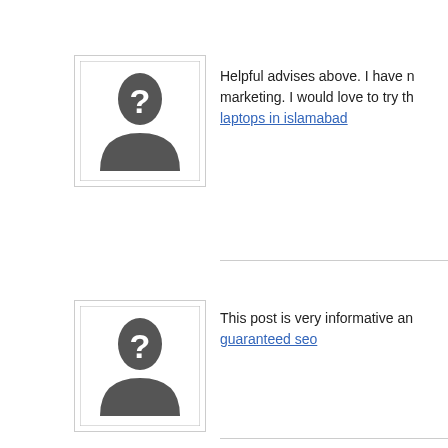[Figure (illustration): Silhouette of person with question mark, avatar placeholder icon, bordered box]
Helpful advises above. I have n marketing. I would love to try th laptops in islamabad
[Figure (illustration): Silhouette of person with question mark, avatar placeholder icon, bordered box]
This post is very informative an guaranteed seo
[Figure (illustration): Silhouette of person with question mark, avatar placeholder icon, bordered box]
Thanks for sharing the ways on use social media. wedding anniversary
[Figure (illustration): Green decorative leaf/web pattern avatar icon]
I love the design of your blog. v